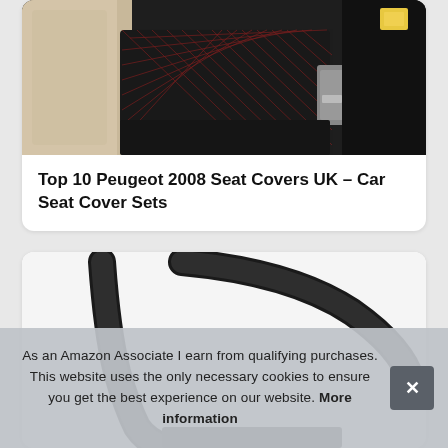[Figure (photo): Car seat with black quilted diamond-pattern seat cover and red stitching, with seatbelt buckle visible]
Top 10 Peugeot 2008 Seat Covers UK – Car Seat Cover Sets
[Figure (photo): Black car seat cover product showing curved headrest support straps against white background]
As an Amazon Associate I earn from qualifying purchases. This website uses the only necessary cookies to ensure you get the best experience on our website. More information